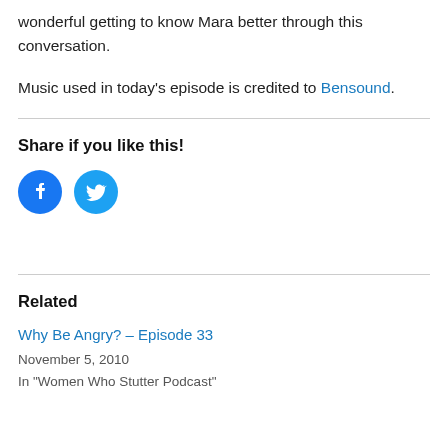wonderful getting to know Mara better through this conversation.
Music used in today's episode is credited to Bensound.
Share if you like this!
[Figure (illustration): Facebook and Twitter social share icon buttons (blue circles with white icons)]
Related
Why Be Angry? – Episode 33
November 5, 2010
In "Women Who Stutter Podcast"